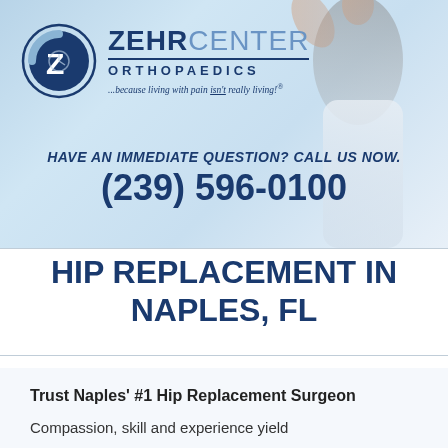[Figure (logo): Zehr Center Orthopaedics logo with circular Z emblem, tagline: ...because living with pain isn't really living!]
HAVE AN IMMEDIATE QUESTION? CALL US NOW. (239) 596-0100
HIP REPLACEMENT IN NAPLES, FL
Trust Naples' #1 Hip Replacement Surgeon
Compassion, skill and experience yield